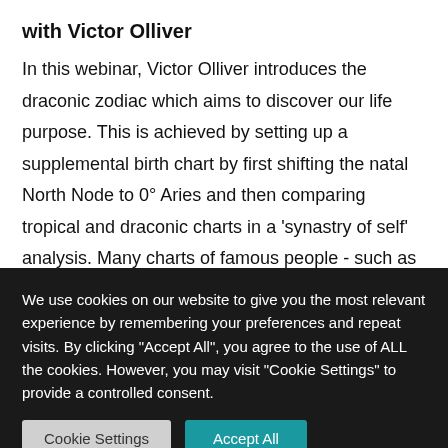with Victor Olliver
In this webinar, Victor Olliver introduces the draconic zodiac which aims to discover our life purpose. This is achieved by setting up a supplemental birth chart by first shifting the natal North Node to 0° Aries and then comparing tropical and draconic charts in a 'synastry of self' analysis. Many charts of famous people - such as Britney Spears, Karl Marx and Queen Elizabeth II - are examined to
We use cookies on our website to give you the most relevant experience by remembering your preferences and repeat visits. By clicking "Accept All", you agree to the use of ALL the cookies. However, you may visit "Cookie Settings" to provide a controlled consent.